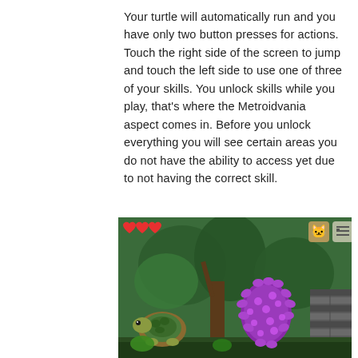Your turtle will automatically run and you have only two button presses for actions. Touch the right side of the screen to jump and touch the left side to use one of three of your skills. You unlock skills while you play, that's where the Metroidvania aspect comes in. Before you unlock everything you will see certain areas you do not have the ability to access yet due to not having the correct skill.
[Figure (screenshot): A screenshot from a video game showing a jungle/forest environment with a turtle character on the left, a large purple spiked object in the center-right, green foliage in the background, and stone structures. The HUD shows three red heart icons in the top-left and character/menu icons in the top-right.]